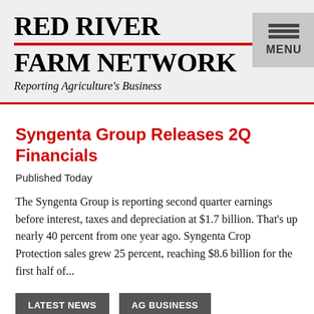RED RIVER FARM NETWORK
Reporting Agriculture's Business
Syngenta Group Releases 2Q Financials
Published Today
The Syngenta Group is reporting second quarter earnings before interest, taxes and depreciation at $1.7 billion. That's up nearly 40 percent from one year ago. Syngenta Crop Protection sales grew 25 percent, reaching $8.6 billion for the first half of...
LATEST NEWS
AG BUSINESS
News Conditions Forecaster Takes...